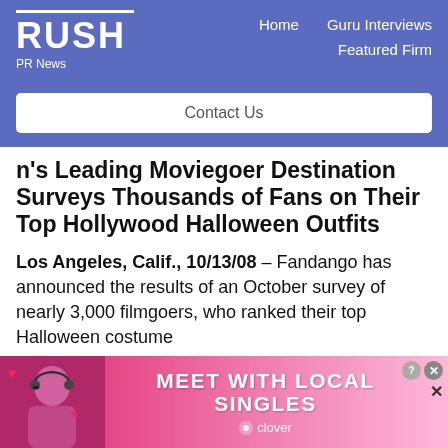RUSH PR News — Home | Guru Interviews | Featured Firm
Contact Us
n's Leading Moviegoer Destination Surveys Thousands of Fans on Their Top Hollywood Halloween Outfits
Los Angeles, Calif., 10/13/08 – Fandango has announced the results of an October survey of nearly 3,000 filmgoers, who ranked their top Halloween costume
[Figure (advertisement): Ad banner: MEET WITH LOCAL SINGLES — clover. Shows smiling woman with headset and pink/magenta background with hearts.]